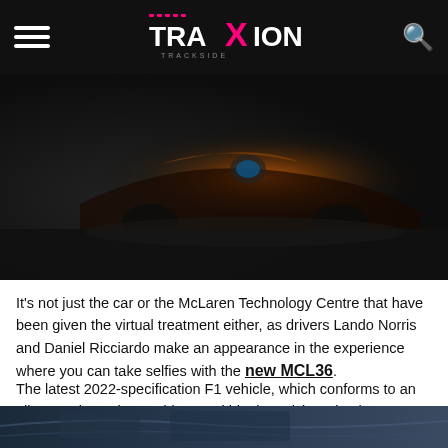Traxion — navigation bar with hamburger menu, Traxion logo, and search icon
[Figure (photo): Dark moody photo of a McLaren F1 car model or render on a dark surface, partially visible, with orange and black livery details]
It’s not just the car or the McLaren Technology Centre that have been given the virtual treatment either, as drivers Lando Norris and Daniel Ricciardo make an appearance in the experience where you can take selfies with the new MCL36.
The latest 2022-specification F1 vehicle, which conforms to an all-new ruleset, is useable too within the Driving Simulator, Jailbreak and Ultimate Driving sections of Roblox.
[Figure (photo): Bottom strip showing partial view of car interior or cockpit with blue tones]